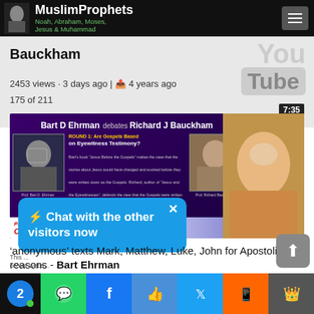MuslimProphets — Noah, Abraham, Moses, Jesus & Muhammad
Bauckham
2453 views · 3 days ago | 4 years ago
175 of 211
[Figure (screenshot): Video thumbnail: Bart D Ehrman debates Richard J Bauckham — Round 1: Are Gospels Based on Eyewitness Testimony? With photos of both scholars and Premier Christian Radio / Unbelievable branding. Duration badge: 7:35]
⚡ Chat with the other visitors now
'anonymous' texts Mark, Matthew, Luke, John for Apostolic reasons - Bart Ehrman
This ... on our webs...
Social share bar: WhatsApp, Facebook, Like, Twitter, SMS, More